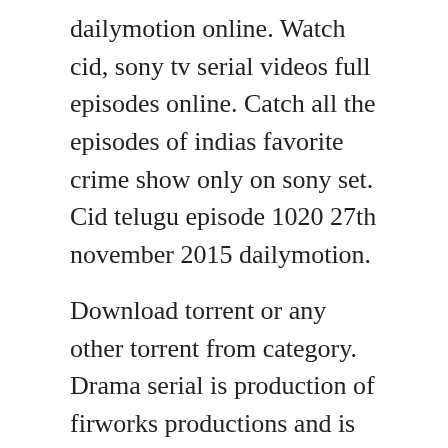dailymotion online. Watch cid, sony tv serial videos full episodes online. Catch all the episodes of indias favorite crime show only on sony set. Cid telugu episode 1020 27th november 2015 dailymotion.
Download torrent or any other torrent from category. Drama serial is production of firworks productions and is directed by b. Watch cid telugu maa tv serial all episodes, watch cid telugu serial online, watch cid all. He was innocent and dcp singham and the cid team trap the real money launderer. Cid 1173